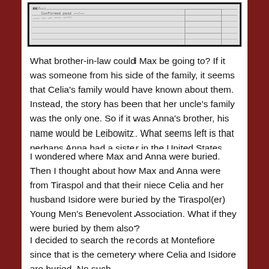[Figure (photo): A scanned historical document image showing handwritten text and printed lines, possibly a form or record card, with black border.]
What brother-in-law could Max be going to? If it was someone from his side of the family, it seems that Celia's family would have known about them. Instead, the story has been that her uncle's family was the only one. So if it was Anna's brother, his name would be Leibowitz. What seems left is that perhaps Anna had a sister in the United States.
I wondered where Max and Anna were buried. Then I thought about how Max and Anna were from Tiraspol and that their niece Celia and her husband Isidore were buried by the Tiraspol(er) Young Men's Benevolent Association. What if they were buried by them also?
I decided to search the records at Montefiore since that is the cemetery where Celia and Isidore are buried. No such